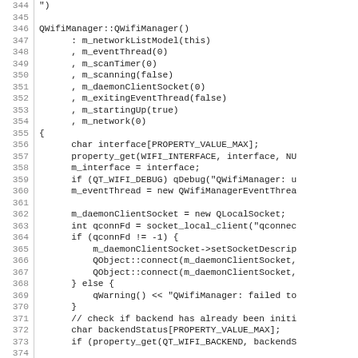[Figure (screenshot): Source code listing showing lines 344-373 of a C++ file implementing QWifiManager constructor with member initializer list and constructor body including socket and interface setup.]